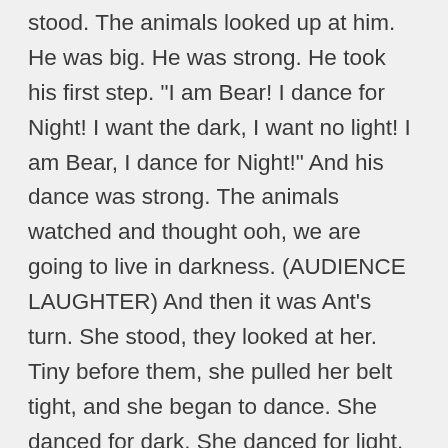stood. The animals looked up at him. He was big. He was strong. He took his first step. "I am Bear! I dance for Night! I want the dark, I want no light! I am Bear, I dance for Night!" And his dance was strong. The animals watched and thought ooh, we are going to live in darkness. (AUDIENCE LAUGHTER) And then it was Ant's turn. She stood, they looked at her. Tiny before them, she pulled her belt tight, and she began to dance. She danced for dark. She danced for light. She danced for day, she danced for night. She danced for peace among all people, and that everyone would get what they need. And then she sat and the animals thought: that was -- different. But it was strong. It was beautiful. It was graceful, but -- then Bear stood up, he had been eating all this time, and he was huge! "I am Bear!" And Earth shook under his feet and the animals shook, thinking of